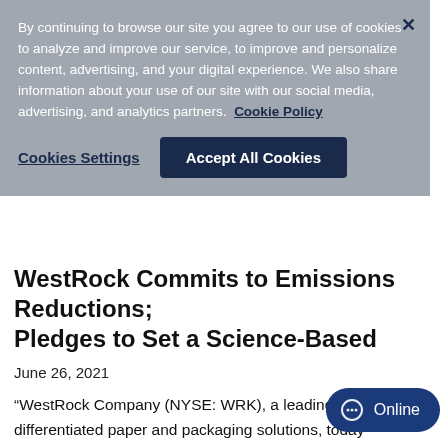By continuing to browse our site you agree to our use of cookies to analyze and improve our service, to improve and personalize content, advertising, and your digital experience. We also share information about your use of our site with our social media, advertising, and analytics partners. Cookie Policy
Cookies Settings
Accept All Cookies
WestRock Commits to Emissions Reductions; Pledges to Set a Science-Based
June 26, 2021
“WestRock Company (NYSE: WRK), a leading provider of differentiated paper and packaging solutions, today announced its commitment to setting a new greenhouse gas emissions reduction target that is align… climate science…”